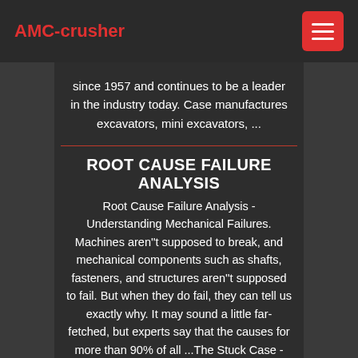AMC-crusher
since 1957 and continues to be a leader in the industry today. Case manufactures excavators, mini excavators, ...
ROOT CAUSE FAILURE ANALYSIS
Root Cause Failure Analysis - Understanding Mechanical Failures. Machines aren''t supposed to break, and mechanical components such as shafts, fasteners, and structures aren''t supposed to fail. But when they do fail, they can tell us exactly why. It may sound a little far-fetched, but experts say that the causes for more than 90% of all ...The Stuck Case - Sinclair IntlThe case is stuck in the die. Your first instinct is to reverse it out. You crank on the handle, and BANG! The rim